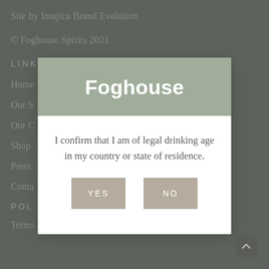Site by Imajica Brand Evolution
© Foghouse Spirits 2021
LINKS
Home
Our S…
Our C…
Shop
Press
Conta…
POL…
Terms of Service
[Figure (screenshot): Age verification modal dialog for Foghouse Spirits website. Modal has a sage green header with 'Foghouse' in bold white text, followed by white body with text 'I confirm that I am of legal drinking age in my country or state of residence.' and two tan/beige buttons labeled YES and NO.]
Foghouse
I confirm that I am of legal drinking age in my country or state of residence.